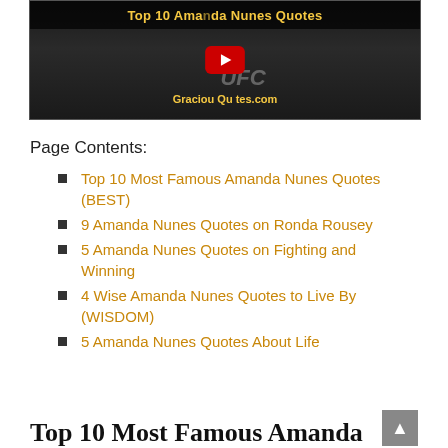[Figure (screenshot): YouTube video thumbnail for 'Top 10 Amanda Nunes Quotes' from GraciousQuotes.com, showing a UFC fighter in black and white with a red YouTube play button overlay and gold text.]
Page Contents:
Top 10 Most Famous Amanda Nunes Quotes (BEST)
9 Amanda Nunes Quotes on Ronda Rousey
5 Amanda Nunes Quotes on Fighting and Winning
4 Wise Amanda Nunes Quotes to Live By (WISDOM)
5 Amanda Nunes Quotes About Life
Top 10 Most Famous Amanda